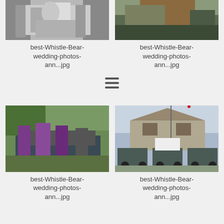[Figure (photo): Black and white photo of couple in a carriage or vehicle, top portion cropped]
best-Whistle-Bear-wedding-photos-ann...jpg
[Figure (photo): Color photo of someone in a golf cart, top portion cropped]
best-Whistle-Bear-wedding-photos-ann...jpg
[Figure (photo): Color photo of bridesmaids in purple dresses riding in a golf cart, outdoors with trees]
best-Whistle-Bear-wedding-photos-ann...jpg
[Figure (photo): Color photo of wedding party standing in front of golf carts with a large clubhouse building behind them]
best-Whistle-Bear-wedding-photos-ann...jpg